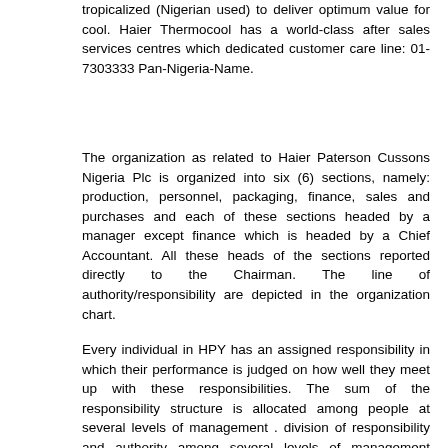tropicalized (Nigerian used) to deliver optimum value for cool. Haier Thermocool has a world-class after sales services centres which dedicated customer care line: 01-7303333 Pan-Nigeria-Name.
The organization as related to Haier Paterson Cussons Nigeria Plc is organized into six (6) sections, namely: production, personnel, packaging, finance, sales and purchases and each of these sections headed by a manager except finance which is headed by a Chief Accountant. All these heads of the sections reported directly to the Chairman. The line of authority/responsibility are depicted in the organization chart.
Every individual in HPY has an assigned responsibility in which their performance is judged on how well they meet up with these responsibilities. The sum of the responsibility structure is allocated among people at several levels of management . division of responsibility and authority among several levels of management enables the enterprises strike effectively in achieving their objectives.